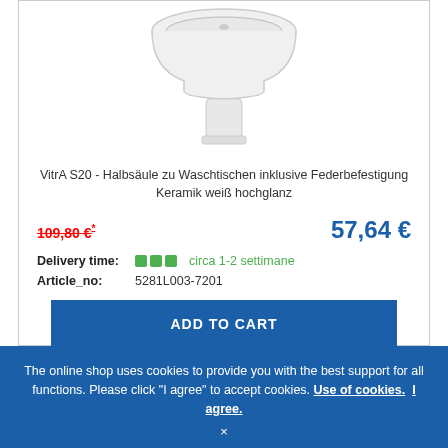[Figure (photo): Product photo of VitrA S20 half-column pedestal, white ceramic, partial view from above]
VitrA S20 - Halbsäule zu Waschtischen inklusive Federbefestigung Keramik weiß hochglanz
109,80 €* (strikethrough old price)   57,64 € (new price in blue)
Delivery time: ■■■ circa 1-2 settimane
Article_no: 5281L003-7201
ADD TO CART
The online shop uses cookies to provide you with the best support for all functions. Please click "I agree" to accept cookies. Use of cookies. I agree.